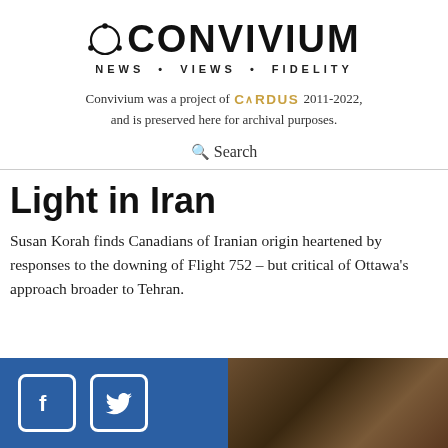[Figure (logo): Convivium logo with circular dot icon and text NEWS · VIEWS · FIDELITY]
Convivium was a project of CARDUS 2011-2022, and is preserved here for archival purposes.
Search
Light in Iran
Susan Korah finds Canadians of Iranian origin heartened by responses to the downing of Flight 752 – but critical of Ottawa's approach broader to Tehran.
[Figure (infographic): Blue panel with Facebook and Twitter social media icons on the left, and a dark photo panel on the right]